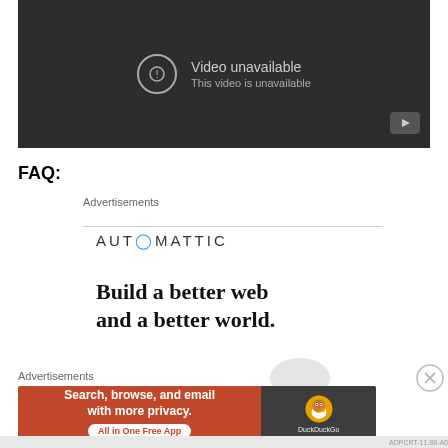[Figure (screenshot): YouTube video player showing 'Video unavailable. This video is unavailable.' message on a dark background with a YouTube logo button in the bottom right corner.]
FAQ:
Advertisements
[Figure (logo): AUTOMATTIC logo with a blue circled dot replacing the letter O]
Build a better web and a better world.
Advertisements
[Figure (screenshot): DuckDuckGo advertisement banner: orange left side reading 'Search, browse, and email with more privacy. All in One Free App' with a rounded rectangle button, and a dark right side showing the DuckDuckGo duck logo and name.]